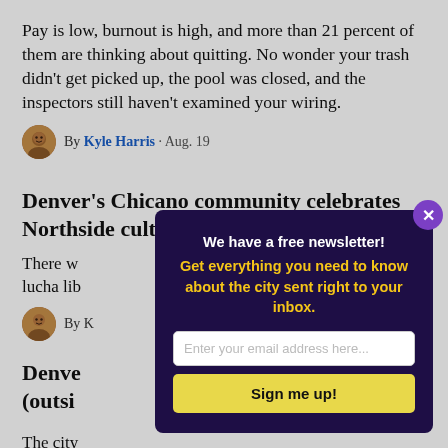Pay is low, burnout is high, and more than 21 percent of them are thinking about quitting. No wonder your trash didn't get picked up, the pool was closed, and the inspectors still haven't examined your wiring.
By Kyle Harris · Aug. 19
Denver's Chicano community celebrates Northside culture at La Raza Park Day
There w… lucha lib…
By K…
Denve… (outsi…
The city… them ou…
[Figure (screenshot): Newsletter signup modal popup with dark purple background. Header text: 'We have a free newsletter!' in white bold. Subtitle: 'Get everything you need to know about the city sent right to your inbox.' in yellow bold. Email input field with placeholder 'Enter your email address here...' and a yellow 'Sign me up!' button. Purple close button with X in top right corner.]